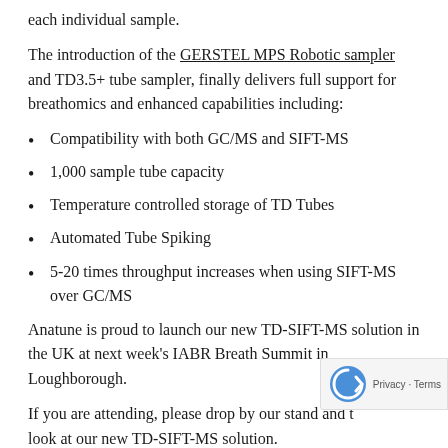each individual sample.
The introduction of the GERSTEL MPS Robotic sampler and TD3.5+ tube sampler, finally delivers full support for breathomics and enhanced capabilities including:
Compatibility with both GC/MS and SIFT-MS
1,000 sample tube capacity
Temperature controlled storage of TD Tubes
Automated Tube Spiking
5-20 times throughput increases when using SIFT-MS over GC/MS
Anatune is proud to launch our new TD-SIFT-MS solution in the UK at next week's IABR Breath Summit in Loughborough.
If you are attending, please drop by our stand and t look at our new TD-SIFT-MS solution.